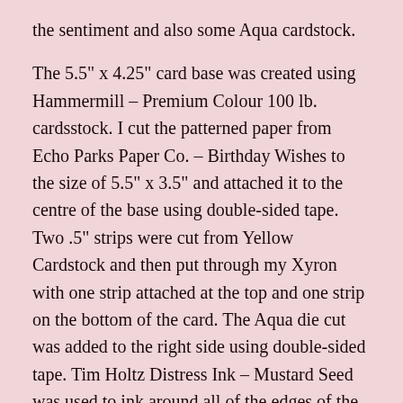the sentiment and also some Aqua cardstock.
The 5.5" x 4.25" card base was created using Hammermill – Premium Colour 100 lb. cardsstock. I cut the patterned paper from Echo Parks Paper Co. – Birthday Wishes to the size of 5.5" x 3.5" and attached it to the centre of the base using double-sided tape. Two .5" strips were cut from Yellow Cardstock and then put through my Xyron with one strip attached at the top and one strip on the bottom of the card. The Aqua die cut was added to the right side using double-sided tape. Tim Holtz Distress Ink – Mustard Seed was used to ink around all of the edges of the card. I applied U-Line double-sided tape to the image and the sentiment and popped them both up onto the background. YNS Gumdrops – Celebration Sparkly Gumdrops were added to the top and bottom strips. Lastly, to finish off